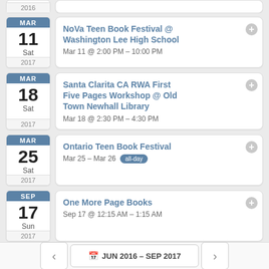2016 (clipped calendar badge)
NoVa Teen Book Festival @ Washington Lee High School — Mar 11 @ 2:00 PM – 10:00 PM, MAR 11, Sat, 2017
Santa Clarita CA RWA First Five Pages Workshop @ Old Town Newhall Library — Mar 18 @ 2:30 PM – 4:30 PM, MAR 18, Sat, 2017
Ontario Teen Book Festival — Mar 25 – Mar 26, all-day, MAR 25, Sat, 2017
One More Page Books — Sep 17 @ 12:15 AM – 1:15 AM, SEP 17, Sun, 2017
◄ JUN 2016 – SEP 2017 ►